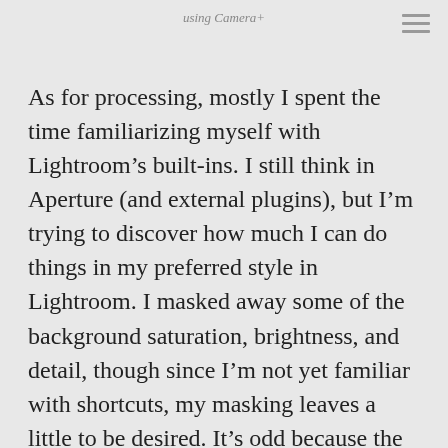using Camera+
As for processing, mostly I spent the time familiarizing myself with Lightroom’s built-ins. I still think in Aperture (and external plugins), but I’m trying to discover how much I can do things in my preferred style in Lightroom. I masked away some of the background saturation, brightness, and detail, though since I’m not yet familiar with shortcuts, my masking leaves a little to be desired. It’s odd because the more you process an image, the less you can tell it was photographed with a Leica. Lightroom’s film grain effect, while not as good as DxO or nik, is a great convenience when viewed close up or printed.